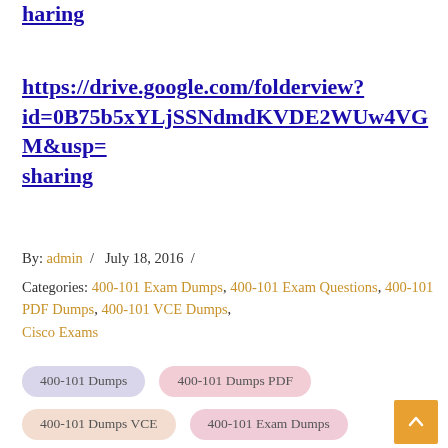haring
https://drive.google.com/folderview?id=0B75b5xYLjSSNdmdKVDE2WUw4VGM&usp=sharing
By: admin / July 18, 2016 /
Categories: 400-101 Exam Dumps, 400-101 Exam Questions, 400-101 PDF Dumps, 400-101 VCE Dumps, Cisco Exams
400-101 Dumps
400-101 Dumps PDF
400-101 Dumps VCE
400-101 Exam Dumps
400-101 Exam Questions
400-101 PDF